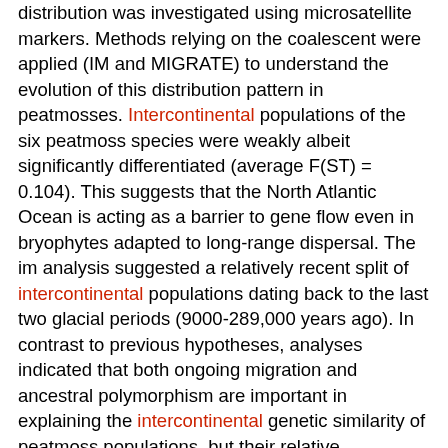distribution was investigated using microsatellite markers. Methods relying on the coalescent were applied (IM and MIGRATE) to understand the evolution of this distribution pattern in peatmosses. Intercontinental populations of the six peatmoss species were weakly albeit significantly differentiated (average F(ST) = 0.104). This suggests that the North Atlantic Ocean is acting as a barrier to gene flow even in bryophytes adapted to long-range dispersal. The im analysis suggested a relatively recent split of intercontinental populations dating back to the last two glacial periods (9000-289,000 years ago). In contrast to previous hypotheses, analyses indicated that both ongoing migration and ancestral polymorphism are important in explaining the intercontinental genetic similarity of peatmoss populations, but their relative contribution varies with species. Migration rates were significantly asymmetric towards America suggesting differential extinction of genotypes on the two continents or invasion of the American continent by European lineages. These results indicate that low genetic divergence of amphi-Atlantic populations is a general pattern across numerous flowering plants and bryophytes. However, in bryophytes, ongoing intercontinental gene flow and retained shared ancestral polymorphism must both be considered to explain the genetic similarity of intercontinental populations.